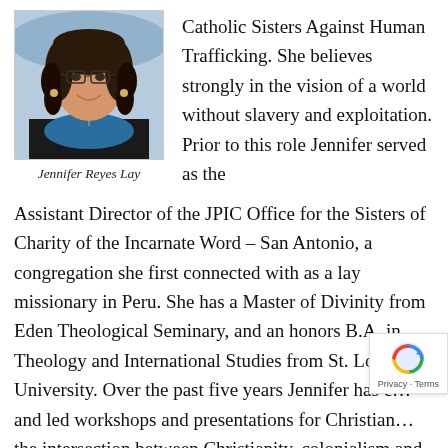[Figure (photo): Headshot photo of Jennifer Reyes Lay, a woman with curly dark hair and glasses, wearing a black jacket and blue top with a cross necklace, smiling.]
Jennifer Reyes Lay
Catholic Sisters Against Human Trafficking. She believes strongly in the vision of a world without slavery and exploitation. Prior to this role Jennifer served as the Assistant Director of the JPIC Office for the Sisters of Charity of the Incarnate Word – San Antonio, a congregation she first connected with as a lay missionary in Peru. She has a Master of Divinity from Eden Theological Seminary, and an honors B.A. in Theology and International Studies from St. Louis University. Over the past five years Jennifer has c… and led workshops and presentations for Christian… the intersection between Christianity, colonialism and